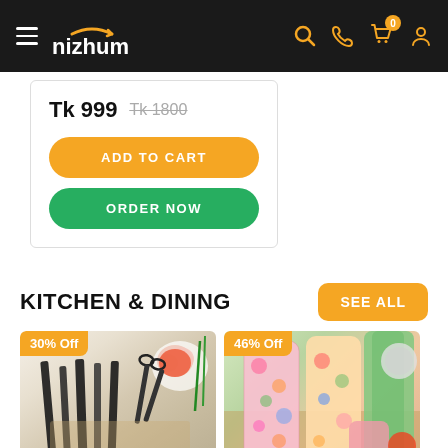nizhum — navigation bar with hamburger menu, search, phone, cart (0 items), account icons
Tk 999  Tk 1800
ADD TO CART
ORDER NOW
KITCHEN & DINING
SEE ALL
[Figure (photo): Kitchen knife set with scissors, tomatoes and spring onions on a white background, with 30% Off badge]
[Figure (photo): Colorful floral pattern kitchen gloves and green rubber gloves on wooden surface with 46% Off badge]